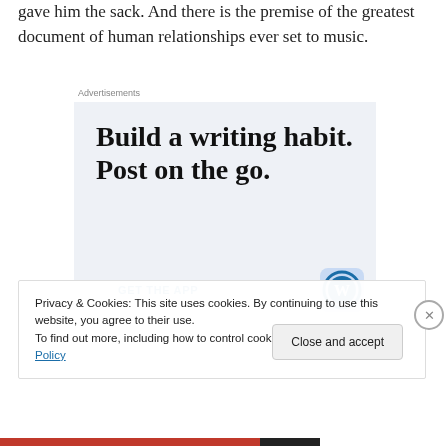gave him the sack. And there is the premise of the greatest document of human relationships ever set to music.
[Figure (infographic): WordPress advertisement: 'Build a writing habit. Post on the go.' with GET THE APP call to action and WordPress logo]
Privacy & Cookies: This site uses cookies. By continuing to use this website, you agree to their use.
To find out more, including how to control cookies, see here: Cookie Policy